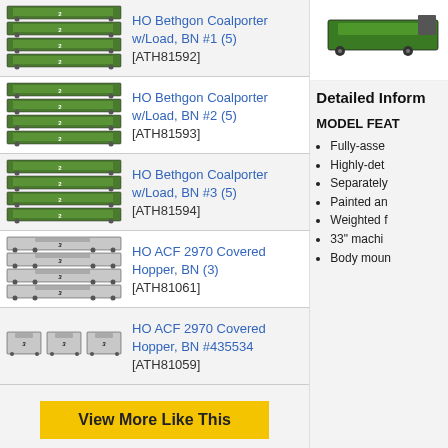[Figure (illustration): HO Bethgon Coalporter w/Load BN #1 model train set image, green cars stacked 4x]
HO Bethgon Coalporter w/Load, BN #1 (5)
[ATH81592]
[Figure (illustration): HO Bethgon Coalporter w/Load BN #2 model train set image, green cars stacked 4x]
HO Bethgon Coalporter w/Load, BN #2 (5)
[ATH81593]
[Figure (illustration): HO Bethgon Coalporter w/Load BN #3 model train set image, green cars stacked 4x]
HO Bethgon Coalporter w/Load, BN #3 (5)
[ATH81594]
[Figure (illustration): HO ACF 2970 Covered Hopper BN (3) model train set image, grey cars stacked 4x]
HO ACF 2970 Covered Hopper, BN (3)
[ATH81061]
[Figure (illustration): HO ACF 2970 Covered Hopper BN #435534 model train set image, grey cars in a row]
HO ACF 2970 Covered Hopper, BN #435534
[ATH81059]
View More Like This
[Figure (illustration): Green model train car image in the right panel top]
Detailed Inform
MODEL FEAT
Fully-asse
Highly-det
Separately
Painted an
Weighted f
33" machi
Body moun